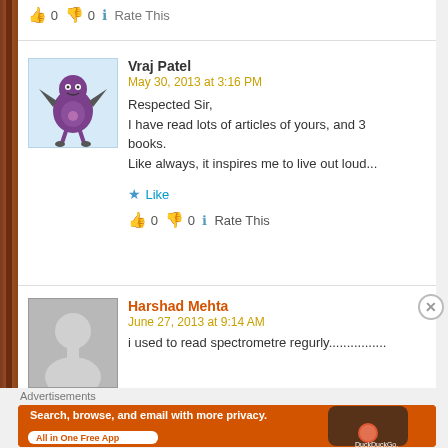👍 0 👎 0 ℹ Rate This
[Figure (illustration): Avatar of Vraj Patel: cartoon bat-like purple creature with wings and feet]
Vraj Patel
May 30, 2013 at 3:16 PM
Respected Sir,
I have read lots of articles of yours, and 3 books.
Like always, it inspires me to live out loud...
★ Like
👍 0 👎 0 ℹ Rate This
[Figure (illustration): Generic grey silhouette avatar for Harshad Mehta]
Harshad Mehta
June 27, 2013 at 9:14 AM
i used to read spectrometre regurly................
Advertisements
[Figure (screenshot): DuckDuckGo advertisement banner: orange background with text 'Search, browse, and email with more privacy. All in One Free App' and DuckDuckGo phone graphic]